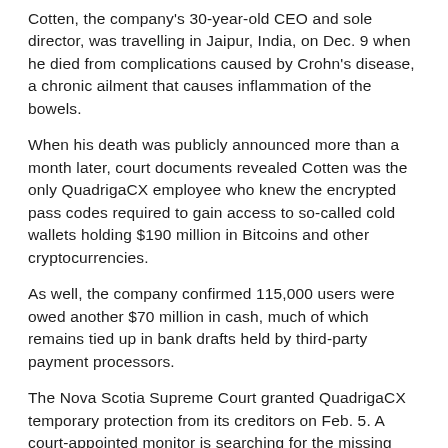Cotten, the company's 30-year-old CEO and sole director, was travelling in Jaipur, India, on Dec. 9 when he died from complications caused by Crohn's disease, a chronic ailment that causes inflammation of the bowels.
When his death was publicly announced more than a month later, court documents revealed Cotten was the only QuadrigaCX employee who knew the encrypted pass codes required to gain access to so-called cold wallets holding $190 million in Bitcoins and other cryptocurrencies.
As well, the company confirmed 115,000 users were owed another $70 million in cash, much of which remains tied up in bank drafts held by third-party payment processors.
The Nova Scotia Supreme Court granted QuadrigaCX temporary protection from its creditors on Feb. 5. A court-appointed monitor is searching for the missing money. The company could be sold.